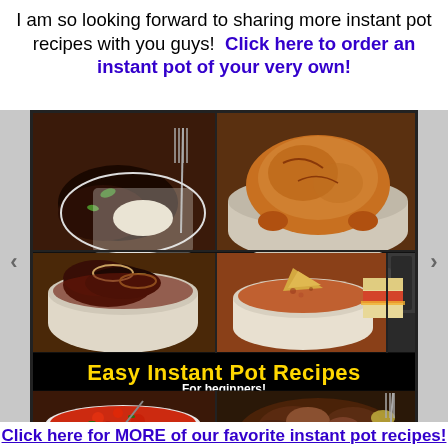I am so looking forward to sharing more instant pot recipes with you guys!  Click here to order an instant pot of your very own!
[Figure (photo): Collage of instant pot food photos: beef dish with rice and fork, whole roasted chicken in instant pot, braised chicken/meat dish, creamy tomato soup with chip, sloppy joe sandwich next to instant pot, red tomato soup/stew, pulled pork or pot roast. Banner text reads 'Easy Instant Pot Recipes For beginners!']
Click here for MORE of our favorite instant pot recipes!